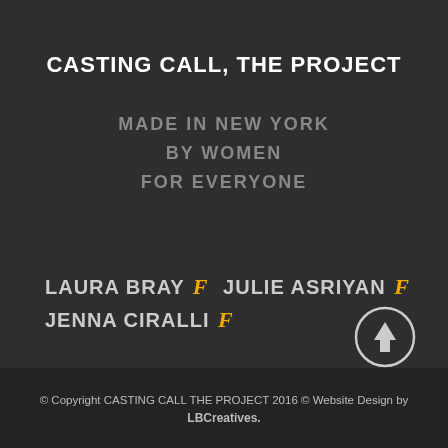CASTING CALL, THE PROJECT
MADE IN NEW YORK
BY WOMEN
FOR EVERYONE
LAURA BRAY [f] JULIE ASRIYAN [f] JENNA CIRALLI [f]
[Figure (illustration): Circular up-arrow button with white border and upward arrow icon]
© Copyright CASTING CALL THE PROJECT 2016 © Website Design by LBCreatives.